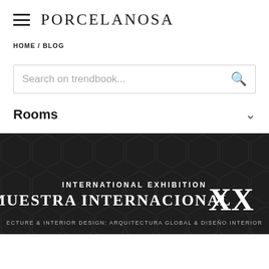PORCELANOSA
HOME / BLOG
Search on trendbook...
Rooms
[Figure (photo): Dark background with hexagonal pattern. Text overlay reads: INTERNATIONAL EXHIBITION / MUESTRA INTERNACIONAL with large XX roman numeral, and partial text: ECTURE & INTERIOR DESIGN: ARQUITECTURA GLOBAL & DISEÑO INTERIOR]